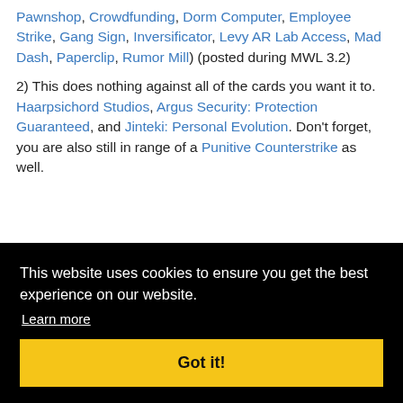Pawnshop, Crowdfunding, Dorm Computer, Employee Strike, Gang Sign, Inversificator, Levy AR Lab Access, Mad Dash, Paperclip, Rumor Mill) (posted during MWL 3.2)
2) This does nothing against all of the cards you want it to. Haarpsichord Studios, Argus Security: Protection Guaranteed, and Jinteki: Personal Evolution. Don't forget, you are also still in range of a Punitive Counterstrike as well.
3) It costs 3 coins, it is 1 influence, and you have to ... ad of ... find ... r 2019 fall era) Crunchy 30
This website uses cookies to ensure you get the best experience on our website. Learn more
Got it!